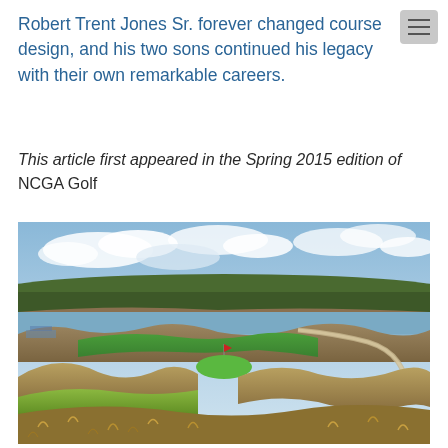Robert Trent Jones Sr. forever changed course design, and his two sons continued his legacy with their own remarkable careers.
This article first appeared in the Spring 2015 edition of NCGA Golf
[Figure (photo): Aerial landscape photograph of a links-style golf course with undulating sandy dunes, bright green fairways and greens, a winding cart path, and a large body of water (bay or strait) in the background with a forested bluff on the far shore under a partly cloudy sky.]